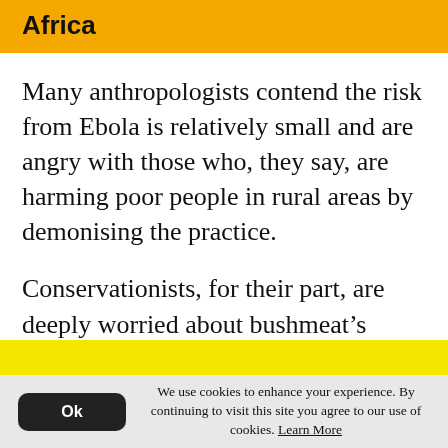Africa
Many anthropologists contend the risk from Ebola is relatively small and are angry with those who, they say, are harming poor people in rural areas by demonising the practice.
Conservationists, for their part, are deeply worried about bushmeat’s impact on biodiversity, which adds to habitat loss as a threat for vulnerable species.
We use cookies to enhance your experience. By continuing to visit this site you agree to our use of cookies. Learn More